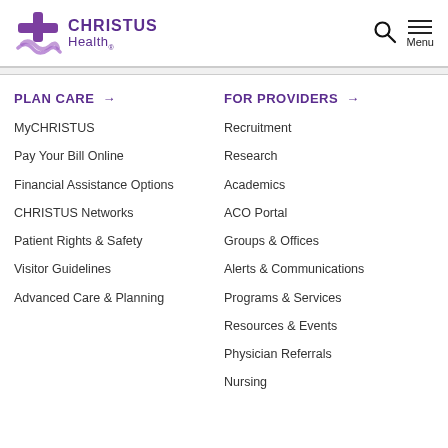[Figure (logo): CHRISTUS Health logo with purple cross and text]
PLAN CARE →
MyCHRISTUS
Pay Your Bill Online
Financial Assistance Options
CHRISTUS Networks
Patient Rights & Safety
Visitor Guidelines
Advanced Care & Planning
FOR PROVIDERS →
Recruitment
Research
Academics
ACO Portal
Groups & Offices
Alerts & Communications
Programs & Services
Resources & Events
Physician Referrals
Nursing